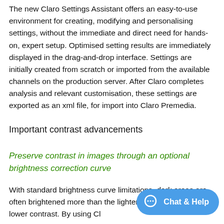The new Claro Settings Assistant offers an easy-to-use environment for creating, modifying and personalising settings, without the immediate and direct need for hands-on, expert setup. Optimised setting results are immediately displayed in the drag-and-drop interface. Settings are initially created from scratch or imported from the available channels on the production server. After Claro completes analysis and relevant customisation, these settings are exported as an xml file, for import into Claro Premedia.
Important contrast advancements
Preserve contrast in images through an optional brightness correction curve
With standard brightness curve limitations, dark areas are often brightened more than the lighter areas, resulting in lower contrast. By using Cl...